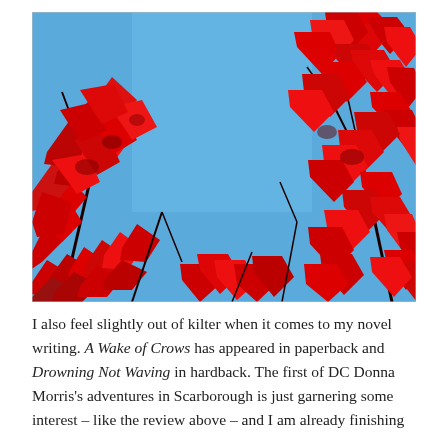[Figure (photo): Photo of vivid red Japanese maple leaves against a bright blue sky, viewed from below looking up. The leaves are clustered at the left and right sides and bottom, with open sky in the centre.]
I also feel slightly out of kilter when it comes to my novel writing. A Wake of Crows has appeared in paperback and Drowning Not Waving in hardback. The first of DC Donna Morris's adventures in Scarborough is just garnering some interest – like the review above – and I am already finishing